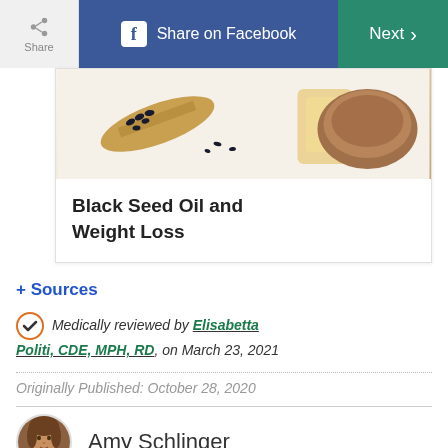Share | Share on Facebook | Next >
[Figure (photo): Photo of black seeds on a wooden spoon with oil and wooden bowl on white background]
Black Seed Oil and Weight Loss
+ Sources
Medically reviewed by Elisabetta Politi, CDE, MPH, RD, on March 23, 2021
Originally Published: October 28, 2020
Amy Schlinger